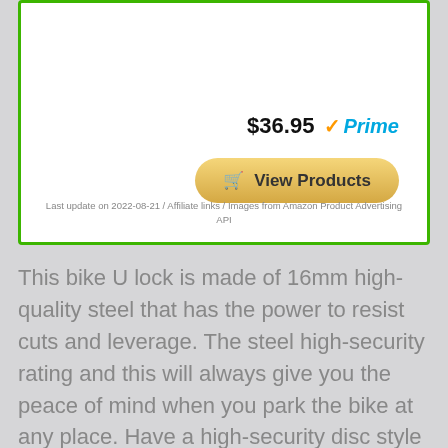$36.95  ✓Prime
🛒 View Products
Last update on 2022-08-21 / Affiliate links / Images from Amazon Product Advertising API
This bike U lock is made of 16mm high-quality steel that has the power to resist cuts and leverage. The steel high-security rating and this will always give you the peace of mind when you park the bike at any place. Have a high-security disc style cylinder and a double locking mechanism that protects the bike from leverage attacks.